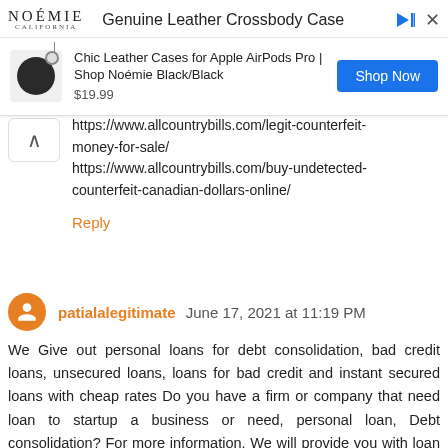[Figure (screenshot): Ad banner for Noémie Genuine Leather Crossbody Case showing product image, price $19.99, and Shop Now button]
https://www.allcountrybills.com/legit-counterfeit-money-for-sale/
https://www.allcountrybills.com/buy-undetected-counterfeit-canadian-dollars-online/
Reply
patialalegitimate  June 17, 2021 at 11:19 PM
We Give out personal loans for debt consolidation, bad credit loans, unsecured loans, loans for bad credit and instant secured loans with cheap rates Do you have a firm or company that need loan to startup a business or need, personal loan, Debt consolidation? For more information. We will provide you with loan to meet your needs. For mo...